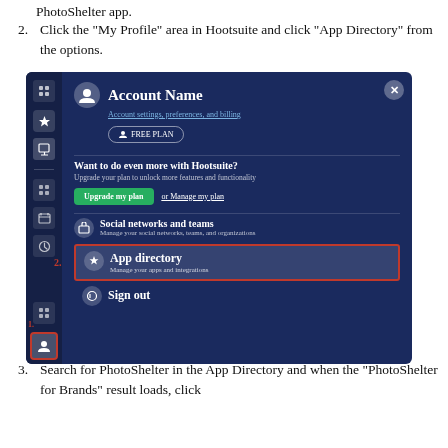PhotoShelter app.
2. Click the “My Profile” area in Hootsuite and click “App Directory” from the options.
[Figure (screenshot): Screenshot of the Hootsuite My Profile panel showing Account Name, Account settings preferences and billing, FREE PLAN button, Want to do even more with Hootsuite? section with Upgrade my plan and Manage my plan buttons, Social networks and teams section, App directory section highlighted with red box (labeled 2.), and Sign out option. The profile icon in the bottom left corner is highlighted with a red box (labeled 1.).]
3. Search for PhotoShelter in the App Directory and when the “PhotoShelter for Brands” result loads, click